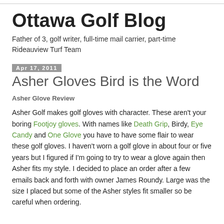Ottawa Golf Blog
Father of 3, golf writer, full-time mail carrier, part-time Rideauview Turf Team
Apr 17, 2011
Asher Gloves Bird is the Word
Asher Glove Review
Asher Golf makes golf gloves with character. These aren't your boring Footjoy gloves. With names like Death Grip, Birdy, Eye Candy and One Glove you have to have some flair to wear these golf gloves. I haven't worn a golf glove in about four or five years but I figured if I'm going to try to wear a glove again then Asher fits my style. I decided to place an order after a few emails back and forth with owner James Roundy. Large was the size I placed but some of the Asher styles fit smaller so be careful when ordering.